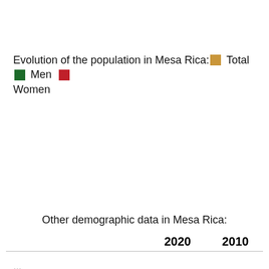Evolution of the population in Mesa Rica: Total  Men  Women
Other demographic data in Mesa Rica:
|  | 2020 | 2010 |
| --- | --- | --- |